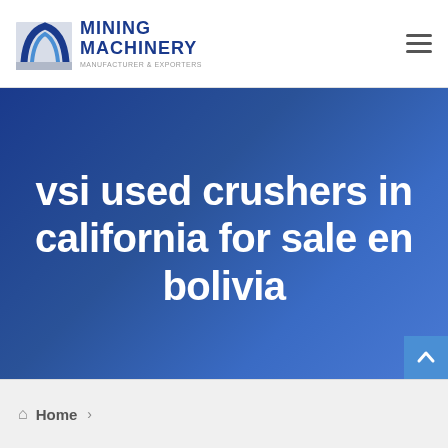[Figure (logo): Mining Machinery company logo with blue arch icon and bold blue text reading MINING MACHINERY]
vsi used crushers in california for sale en bolivia
Home